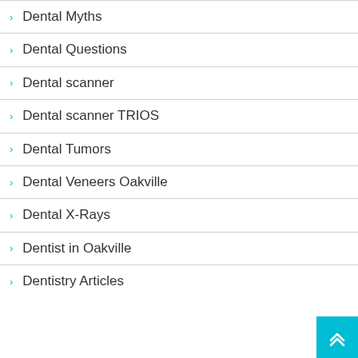Dental Myths
Dental Questions
Dental scanner
Dental scanner TRIOS
Dental Tumors
Dental Veneers Oakville
Dental X-Rays
Dentist in Oakville
Dentistry Articles